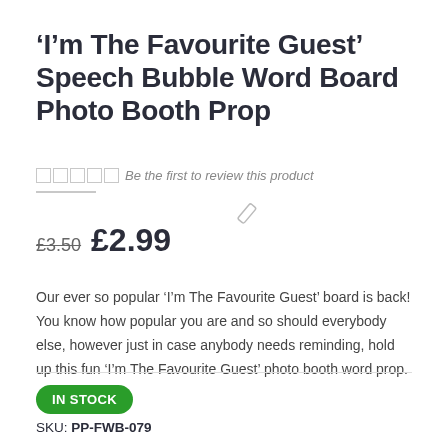'I'm The Favourite Guest' Speech Bubble Word Board Photo Booth Prop
Be the first to review this product
£3.50  £2.99
Our ever so popular 'I'm The Favourite Guest' board is back! You know how popular you are and so should everybody else, however just in case anybody needs reminding, hold up this fun 'I'm The Favourite Guest' photo booth word prop.
IN STOCK
SKU: PP-FWB-079